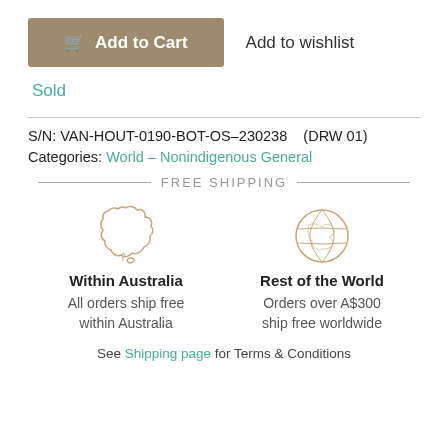[Figure (other): Add to Cart button (brown/tan background, shopping cart icon) with Add to wishlist link beside it]
Sold
S/N: VAN-HOUT-0190-BOT-OS–230238   (DRW 01)
Categories: World – Nonindigenous General
FREE SHIPPING
[Figure (illustration): Outline illustration of Australia map in tan/beige color]
Within Australia
All orders ship free within Australia
[Figure (illustration): Outline illustration of globe/world map in tan/beige color]
Rest of the World
Orders over A$300 ship free worldwide
See Shipping page for Terms & Conditions